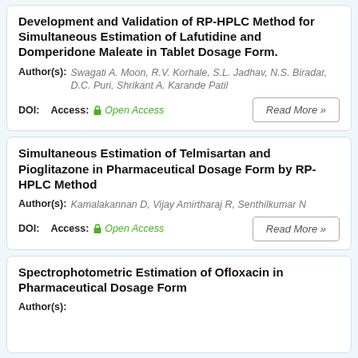Development and Validation of RP-HPLC Method for Simultaneous Estimation of Lafutidine and Domperidone Maleate in Tablet Dosage Form.
Author(s): Swagati A. Moon, R.V. Korhale, S.L. Jadhav, N.S. Biradar, D.C. Puri, Shrikant A. Karande Patil
DOI:   Access: Open Access
Simultaneous Estimation of Telmisartan and Pioglitazone in Pharmaceutical Dosage Form by RP-HPLC Method
Author(s): Kamalakannan D, Vijay Amirtharaj R, Senthilkumar N
DOI:   Access: Open Access
Spectrophotometric Estimation of Ofloxacin in Pharmaceutical Dosage Form
Author(s):